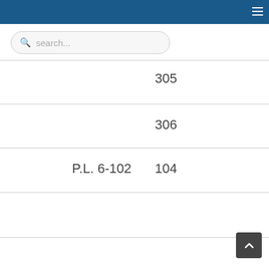[Figure (screenshot): Navigation top bar with dark blue background and hamburger menu icon]
[Figure (screenshot): Search bar with magnifying glass icon and placeholder text 'search...']
305
306
P.L. 6-102
104
[Figure (screenshot): Back to top button (dark square with upward chevron arrow)]